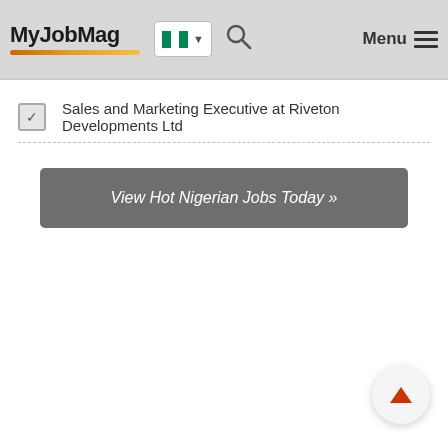MyJobMag — Navigation bar with logo, Nigeria flag dropdown, search icon, and Menu
Sales and Marketing Executive at Riveton Developments Ltd
View Hot Nigerian Jobs Today »